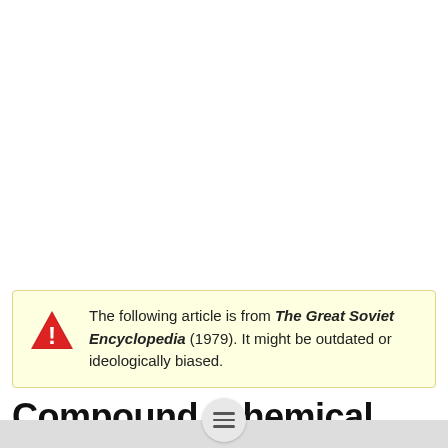The following article is from The Great Soviet Encyclopedia (1979). It might be outdated or ideologically biased.
Compound, Chemical